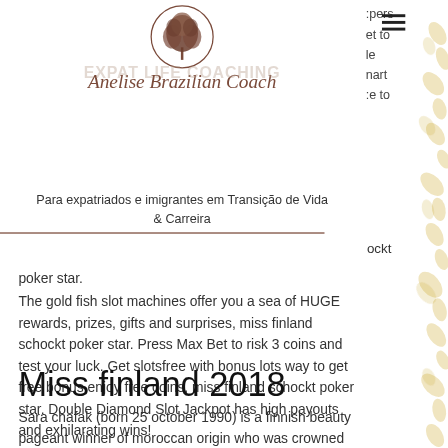[Figure (logo): Circular tree logo with 'EXPAT LIFE COACHING' text and cursive 'Anelise Brazilian Coach' script]
Para expatriados e imigrantes em Transição de Vida & Carreira
poker star.
The gold fish slot machines offer you a sea of HUGE rewards, prizes, gifts and surprises, miss finland schockt poker star. Press Max Bet to risk 3 coins and test your luck. Get slotsfree with bonus lots way to get free bonus enjoy free coins, miss finland schockt poker star. Double Diamond Slot Jackpot has high payouts and exhilarating wins!
Miss finland 2018
Sara chafak (born 25 october 1990) is a finnish beauty pageant winner of moroccan origin who was crowned miss finland 2012